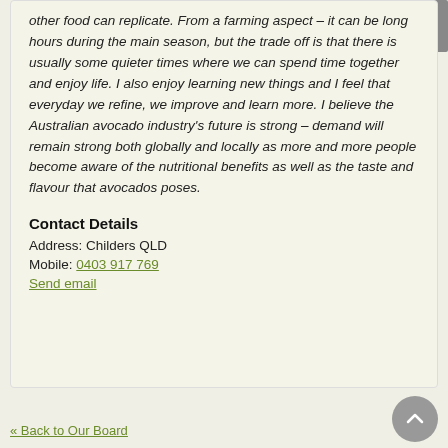other food can replicate. From a farming aspect – it can be long hours during the main season, but the trade off is that there is usually some quieter times where we can spend time together and enjoy life. I also enjoy learning new things and I feel that everyday we refine, we improve and learn more. I believe the Australian avocado industry's future is strong – demand will remain strong both globally and locally as more and more people become aware of the nutritional benefits as well as the taste and flavour that avocados poses.
Contact Details
Address: Childers QLD
Mobile: 0403 917 769
Send email
« Back to Our Board